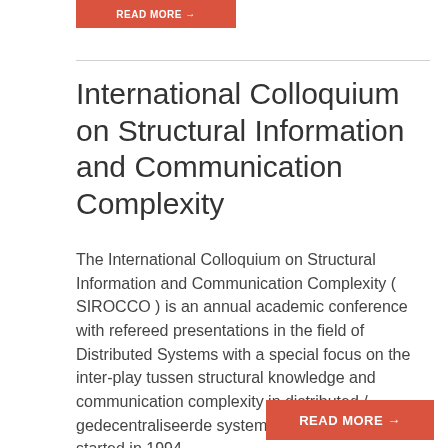[Figure (other): Orange/red 'READ MORE →' button at top of page, partially cropped]
International Colloquium on Structural Information and Communication Complexity
The International Colloquium on Structural Information and Communication Complexity ( SIROCCO ) is an annual academic conference with refereed presentations in the field of Distributed Systems with a special focus on the inter-play tussen structural knowledge and communication complexity in distributed / gedecentraliseerde systems. The Colloquium was started in 1994...
[Figure (other): Orange/red 'READ MORE →' button at bottom right]